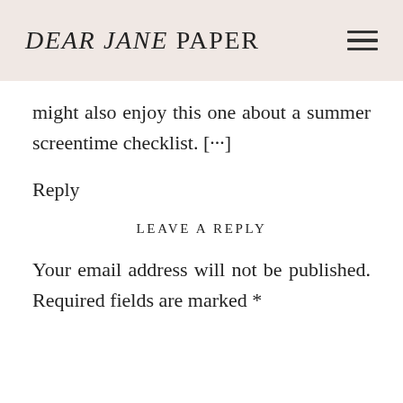DEAR JANE PAPER
might also enjoy this one about a summer screentime checklist. [⋯]
Reply
LEAVE A REPLY
Your email address will not be published. Required fields are marked *